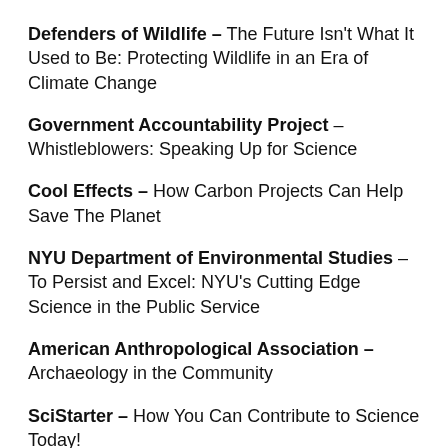Defenders of Wildlife – The Future Isn't What It Used to Be: Protecting Wildlife in an Era of Climate Change
Government Accountability Project – Whistleblowers: Speaking Up for Science
Cool Effects – How Carbon Projects Can Help Save The Planet
NYU Department of Environmental Studies – To Persist and Excel: NYU's Cutting Edge Science in the Public Service
American Anthropological Association – Archaeology in the Community
SciStarter – How You Can Contribute to Science Today!
The Munson Foundation, The Ocean Foundation, and Shark Advocates International – The Role of Science in O…